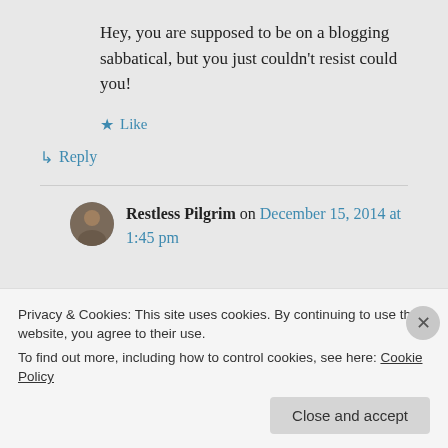Hey, you are supposed to be on a blogging sabbatical, but you just couldn't resist could you!
★ Like
↳ Reply
Restless Pilgrim on December 15, 2014 at 1:45 pm
Privacy & Cookies: This site uses cookies. By continuing to use this website, you agree to their use.
To find out more, including how to control cookies, see here: Cookie Policy
Close and accept